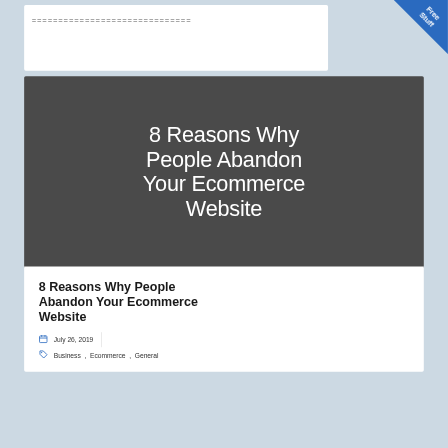==============================
[Figure (illustration): Blue triangular corner banner with text 'Free Stuff']
8 Reasons Why People Abandon Your Ecommerce Website
8 Reasons Why People Abandon Your Ecommerce Website
July 26, 2019
Business , Ecommerce , General